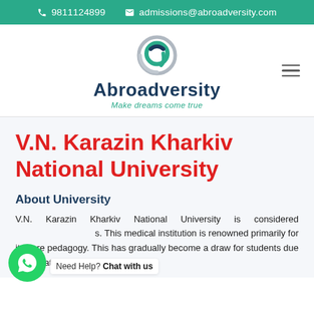📞 9811124899  ✉ admissions@abroadversity.com
[Figure (logo): Abroadversity logo — circular 'a' icon in teal and dark blue, with brand name 'Abroadversity' and tagline 'Make dreams come true']
V.N. Karazin Kharkiv National University
About University
V.N. Karazin Kharkiv National University is considered one of the most prestigious universities. This medical institution is renowned primarily for its core pedagogy. This has gradually become a draw for students due to its state-of-